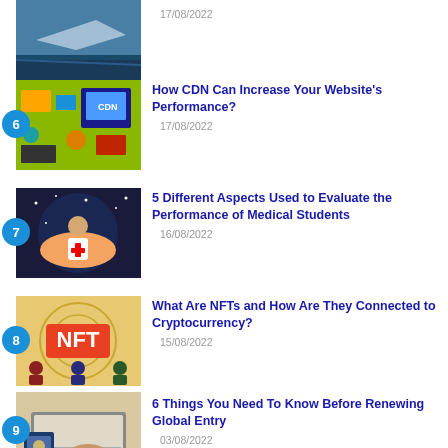[Item 5 partial] 17/08/2022
6. How CDN Can Increase Your Website's Performance? 17/08/2022
7. 5 Different Aspects Used to Evaluate the Performance of Medical Students 16/08/2022
8. What Are NFTs and How Are They Connected to Cryptocurrency? 15/08/2022
9. 6 Things You Need To Know Before Renewing Global Entry 03/08/2022
10. 9 Car Gadgets to Make Long Rides More Comfortable